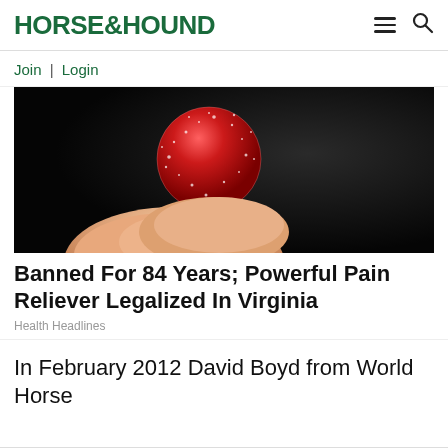HORSE&HOUND
Join | Login
[Figure (photo): Close-up of a hand holding a red sugar-coated gummy candy against a dark background]
Banned For 84 Years; Powerful Pain Reliever Legalized In Virginia
Health Headlines
In February 2012 David Boyd from World Horse